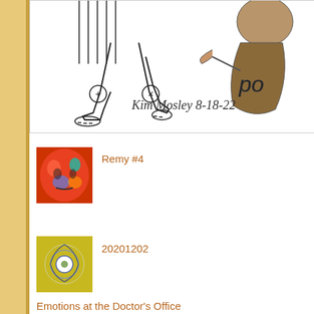[Figure (illustration): Pencil sketch drawing of cartoon-style figures with legs visible, showing feet and lower body. Signed 'Kim Mosley 8-18-22' at the bottom.]
[Figure (illustration): Small thumbnail of a colorful abstract face artwork in red and blue tones.]
Remy #4
[Figure (illustration): Small thumbnail of an abstract floral/circular artwork on yellow background.]
20201202
Emotions at the Doctor's Office